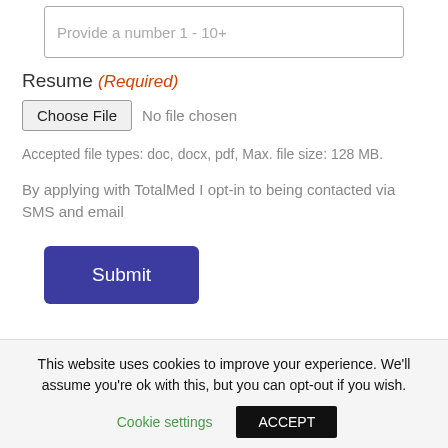Provide a number 1 - 10+
Resume (Required)
Choose File  No file chosen
Accepted file types: doc, docx, pdf, Max. file size: 128 MB.
By applying with TotalMed I opt-in to being contacted via SMS and email
Submit
This website uses cookies to improve your experience. We'll assume you're ok with this, but you can opt-out if you wish.
Cookie settings  ACCEPT